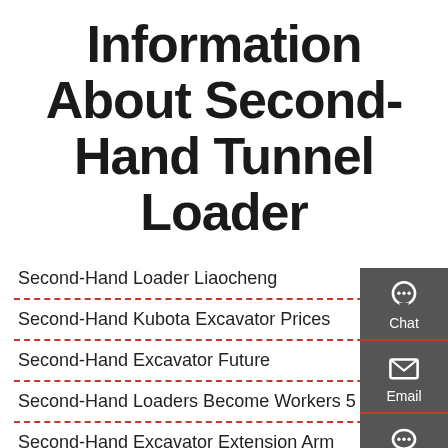Information About Second-Hand Tunnel Loader
Second-Hand Loader Liaocheng
Second-Hand Kubota Excavator Prices
Second-Hand Excavator Future
Second-Hand Loaders Become Workers 5
Second-Hand Excavator Extension Arm